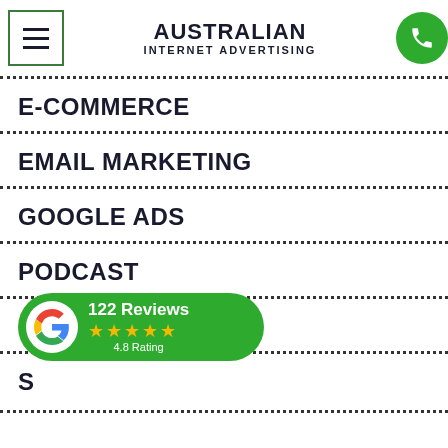[Figure (logo): Australian Internet Advertising logo with hamburger menu button on left and phone button on right]
E-COMMERCE
EMAIL MARKETING
GOOGLE ADS
PODCAST
SEO
S
[Figure (infographic): Google Reviews badge showing 122 Reviews, 4.8 Rating with 4.5 stars on green background]